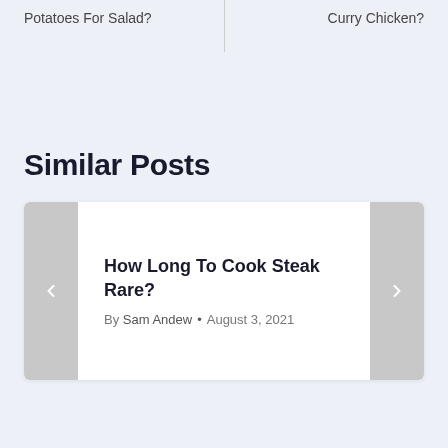Potatoes For Salad?
Curry Chicken?
Similar Posts
How Long To Cook Steak Rare?
By Sam Andew • August 3, 2021